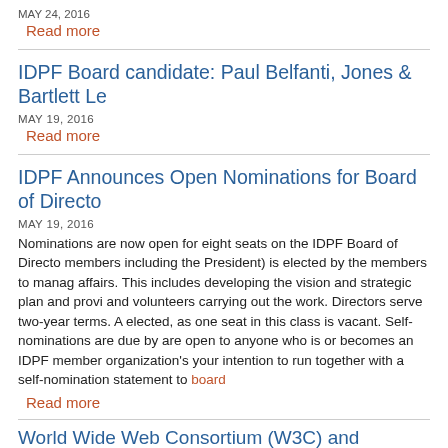MAY 24, 2016
Read more
IDPF Board candidate: Paul Belfanti, Jones & Bartlett Le…
MAY 19, 2016
Read more
IDPF Announces Open Nominations for Board of Directo…
MAY 19, 2016
Nominations are now open for eight seats on the IDPF Board of Directo… members including the President) is elected by the members to manag… affairs. This includes developing the vision and strategic plan and provi… and volunteers carrying out the work. Directors serve two-year terms. A… elected, as one seat in this class is vacant. Self-nominations are due by… are open to anyone who is or becomes an IDPF member organization's… your intention to run together with a self-nomination statement to board…
Read more
World Wide Web Consortium (W3C) and International Di… Explore Plans to Combine